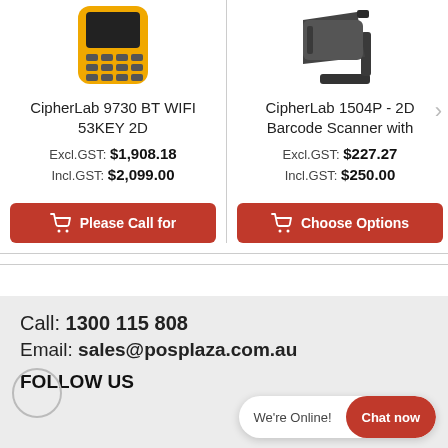[Figure (photo): CipherLab 9730 BT WIFI 53KEY 2D handheld device with yellow bumper case, shown from above]
CipherLab 9730 BT WIFI 53KEY 2D
Excl.GST: $1,908.18
Incl.GST: $2,099.00
Please Call for
[Figure (photo): CipherLab 1504P 2D Barcode Scanner with stand/mount, dark grey color]
CipherLab 1504P - 2D Barcode Scanner with
Excl.GST: $227.27
Incl.GST: $250.00
Choose Options
Call: 1300 115 808
Email: sales@posplaza.com.au
FOLLOW US
We're Online!
Chat now